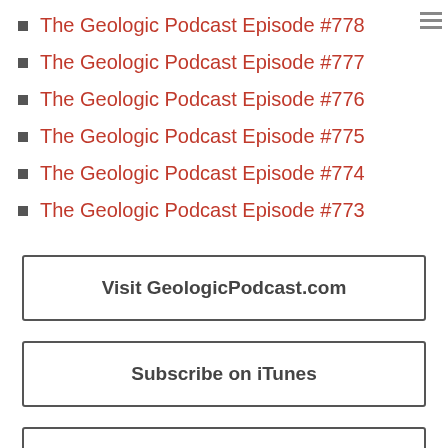The Geologic Podcast Episode #778
The Geologic Podcast Episode #777
The Geologic Podcast Episode #776
The Geologic Podcast Episode #775
The Geologic Podcast Episode #774
The Geologic Podcast Episode #773
Visit GeologicPodcast.com
Subscribe on iTunes
Become a Patron